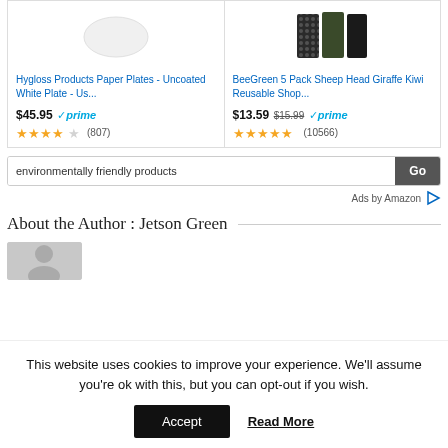[Figure (screenshot): Two Amazon product cards: (1) Hygloss Products Paper Plates - Uncoated White Plate - Us... $45.95 Prime, 4 stars (807 reviews); (2) BeeGreen 5 Pack Sheep Head Giraffe Kiwi Reusable Shop... $13.59 (was $15.99) Prime, 5 stars (10566 reviews)]
[Figure (screenshot): Amazon search box with text 'environmentally friendly products' and a 'Go' button, followed by 'Ads by Amazon' label with logo]
About the Author: Jetson Green
[Figure (photo): Gray placeholder author avatar image]
This website uses cookies to improve your experience. We'll assume you're ok with this, but you can opt-out if you wish.